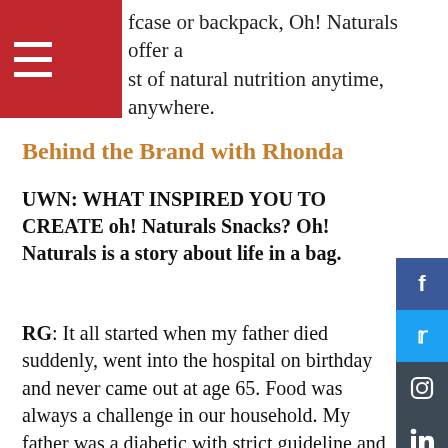fcase or backpack, Oh! Naturals offer a st of natural nutrition anytime, anywhere.
Behind the Brand with Rhonda
UWN: WHAT INSPIRED YOU TO CREATE oh! Naturals Snacks? Oh! Naturals is a story about life in a bag.
RG: It all started when my father died suddenly, went into the hospital on birthday and never came out at age 65. Food was always a challenge in our household. My father was a diabetic with strict guideline and I was a very picky eater disliked most foods. Towards the end of my father's life, he was unable to have potassium in his diet. When I was a young child, I